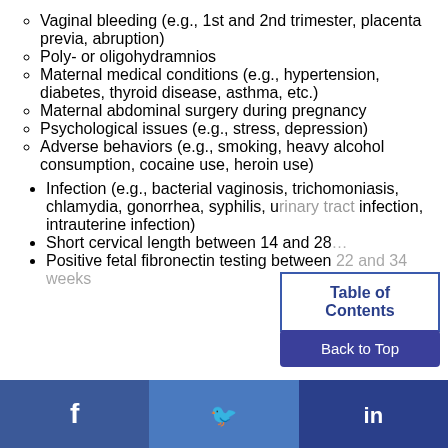Vaginal bleeding (e.g., 1st and 2nd trimester, placenta previa, abruption)
Poly- or oligohydramnios
Maternal medical conditions (e.g., hypertension, diabetes, thyroid disease, asthma, etc.)
Maternal abdominal surgery during pregnancy
Psychological issues (e.g., stress, depression)
Adverse behaviors (e.g., smoking, heavy alcohol consumption, cocaine use, heroin use)
Infection (e.g., bacterial vaginosis, trichomoniasis, chlamydia, gonorrhea, syphilis, urinary tract infection, intrauterine infection)
Short cervical length between 14 and 28…
Positive fetal fibronectin testing between 22 and 34 weeks